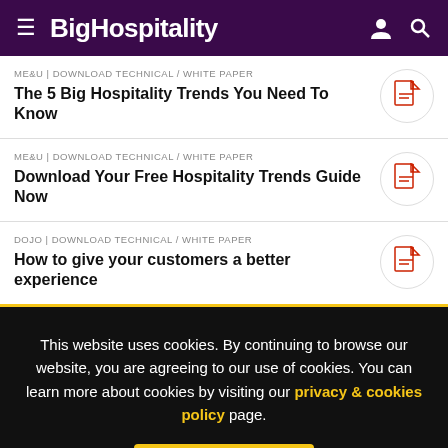BigHospitality
ME&U | DOWNLOAD TECHNICAL / WHITE PAPER
The 5 Big Hospitality Trends You Need To Know
ME&U | DOWNLOAD TECHNICAL / WHITE PAPER
Download Your Free Hospitality Trends Guide Now
DOJO | DOWNLOAD TECHNICAL / WHITE PAPER
How to give your customers a better experience
This website uses cookies. By continuing to browse our website, you are agreeing to our use of cookies. You can learn more about cookies by visiting our privacy & cookies policy page.